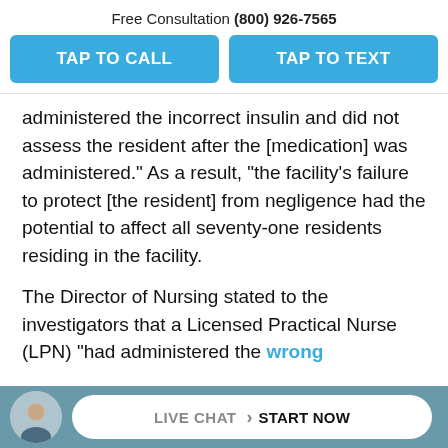Free Consultation (800) 926-7565
TAP TO CALL
TAP TO TEXT
administered the incorrect insulin and did not assess the resident after the [medication] was administered.” As a result, “the facility’s failure to protect [the resident] from negligence had the potential to affect all seventy-one residents residing in the facility.
The Director of Nursing stated to the investigators that a Licensed Practical Nurse (LPN) “had administered the wrong
LIVE CHAT › START NOW